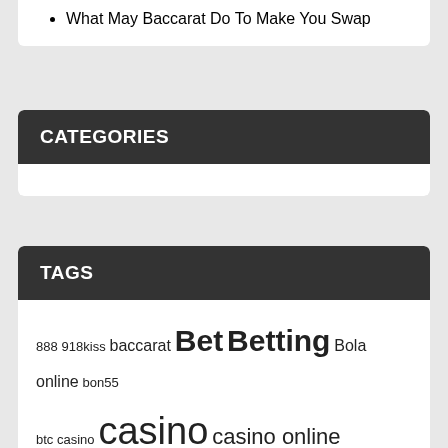What May Baccarat Do To Make You Swap
CATEGORIES
TAGS
888 918kiss baccarat Bet Betting Bola online bon55 btc casino casino casino online domino dominoqq gambling game gaming Gclub judi Judi Bola judi online Judi poker Judi Slot online bonus online betting online casino